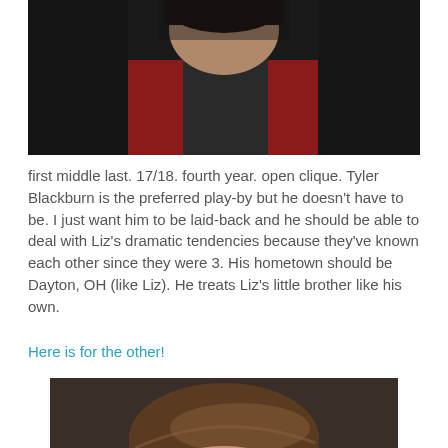[Figure (photo): Young man wearing a red jacket and dark hoodie, photographed from slightly above, dark hair visible]
first middle last. 17/18. fourth year. open clique. Tyler Blackburn is the preferred play-by but he doesn't have to be. I just want him to be laid-back and he should be able to deal with Liz's dramatic tendencies because they've known each other since they were 3. His hometown should be Dayton, OH (like Liz). He treats Liz's little brother like his own.
Here is for the other!
[Figure (photo): Young man with neatly styled brown hair and blue-grey eyes, looking slightly to the side, close-up portrait]